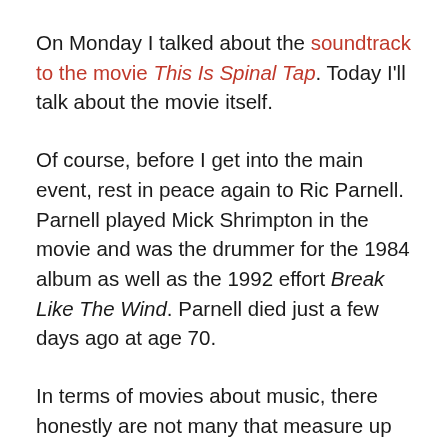On Monday I talked about the soundtrack to the movie This Is Spinal Tap. Today I'll talk about the movie itself.
Of course, before I get into the main event, rest in peace again to Ric Parnell. Parnell played Mick Shrimpton in the movie and was the drummer for the 1984 album as well as the 1992 effort Break Like The Wind. Parnell died just a few days ago at age 70.
In terms of movies about music, there honestly are not many that measure up to This Is Spinal Tap. The “mockumentary” was a battle to get funding for and film, and then was a slow-burner that edged its way to cult classic and then eventually immortal